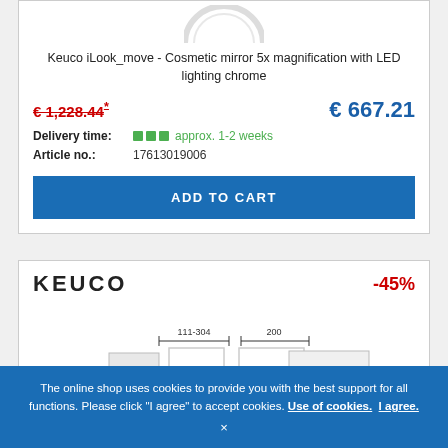[Figure (photo): Partial top view of a circular cosmetic mirror with chrome finish]
Keuco iLook_move - Cosmetic mirror 5x magnification with LED lighting chrome
€ 1,228.44* (strikethrough, old price) € 667.21 (new price)
Delivery time: approx. 1-2 weeks
Article no.: 17613019006
ADD TO CART
[Figure (logo): KEUCO brand logo text]
-45%
[Figure (engineering-diagram): Technical schematic/engineering drawing with dimension annotations: 111-304 and 200]
The online shop uses cookies to provide you with the best support for all functions. Please click "I agree" to accept cookies. Use of cookies. I agree.